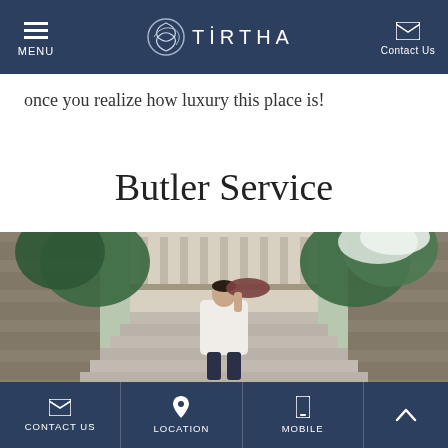MENU | TIRTHA | Contact Us
once you realize how luxury this place is!
Butler Service
[Figure (photo): A butler in white traditional attire carrying a tray on his shoulder, walking down stone steps framed by lush green trees and white flowers, with a colonial-style building balcony in the background.]
CONTACT US | LOCATION | MOBILE